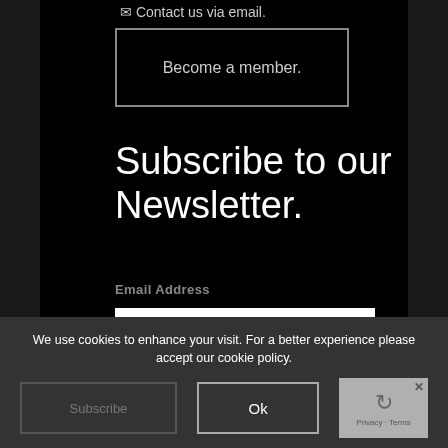Contact us via email.
Become a member.
Subscribe to our Newsletter.
Email Address
Subscribe
We use cookies to enhance your visit. For a better experience please accept our cookie policy.
Ok